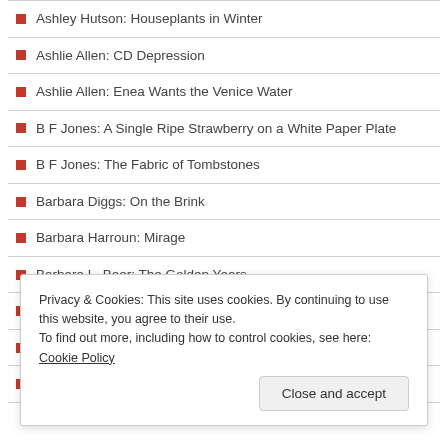Ashley Hutson: Houseplants in Winter
Ashlie Allen: CD Depression
Ashlie Allen: Enea Wants the Venice Water
B F Jones: A Single Ripe Strawberry on a White Paper Plate
B F Jones: The Fabric of Tombstones
Barbara Diggs: On the Brink
Barbara Harroun: Mirage
Barbara L. Baer: The Golden Years
Barbara Lovric: Some Days are Better than Ours
Barbara Renel: Hummingbird
Bart Van Goethem: The Smell
Privacy & Cookies: This site uses cookies. By continuing to use this website, you agree to their use.
To find out more, including how to control cookies, see here: Cookie Policy
Close and accept